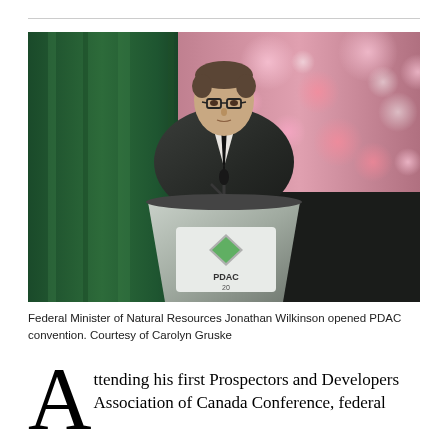[Figure (photo): Federal Minister of Natural Resources Jonathan Wilkinson speaking at a podium with PDAC convention branding. Green curtain on the left, bokeh pink/red lights on the right background.]
Federal Minister of Natural Resources Jonathan Wilkinson opened PDAC convention. Courtesy of Carolyn Gruske
Attending his first Prospectors and Developers Association of Canada Conference, federal